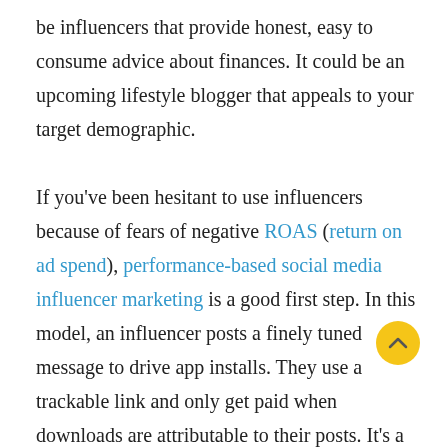be influencers that provide honest, easy to consume advice about finances. It could be an upcoming lifestyle blogger that appeals to your target demographic.

If you've been hesitant to use influencers because of fears of negative ROAS (return on ad spend), performance-based social media influencer marketing is a good first step. In this model, an influencer posts a finely tuned message to drive app installs. They use a trackable link and only get paid when downloads are attributable to their posts. It's a low-risk way to try out this approach.